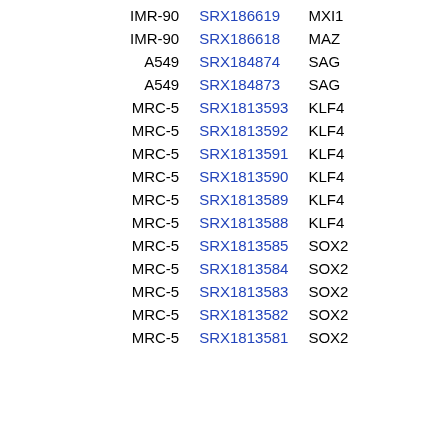| Cell | SRX | Gene |
| --- | --- | --- |
| IMR-90 | SRX186619 | MXI1 |
| IMR-90 | SRX186618 | MAZ |
| A549 | SRX184874 | SAG |
| A549 | SRX184873 | SAG |
| MRC-5 | SRX1813593 | KLF4 |
| MRC-5 | SRX1813592 | KLF4 |
| MRC-5 | SRX1813591 | KLF4 |
| MRC-5 | SRX1813590 | KLF4 |
| MRC-5 | SRX1813589 | KLF4 |
| MRC-5 | SRX1813588 | KLF4 |
| MRC-5 | SRX1813585 | SOX2 |
| MRC-5 | SRX1813584 | SOX2 |
| MRC-5 | SRX1813583 | SOX2 |
| MRC-5 | SRX1813582 | SOX2 |
| MRC-5 | SRX1813581 | SOX2 |